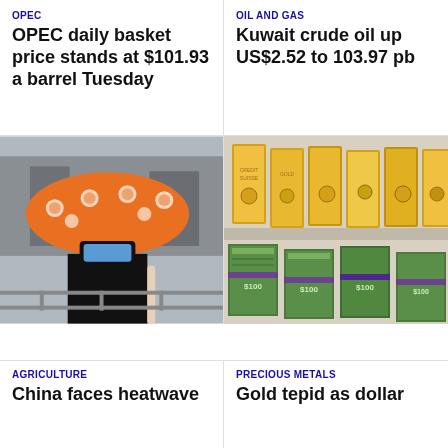OPEC
OPEC daily basket price stands at $101.93 a barrel Tuesday
OIL AND GAS
Kuwait crude oil up US$2.52 to 103.97 pb
[Figure (photo): Person wearing a face mask and holding an orange patterned umbrella outdoors]
[Figure (photo): Gold bars and stacks of US dollar bills on shelves]
AGRICULTURE
China faces heatwave
PRECIOUS METALS
Gold tepid as dollar